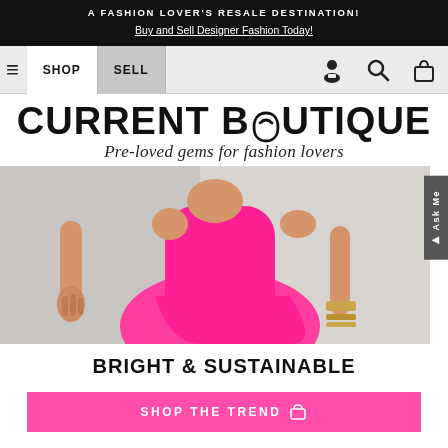A FASHION LOVER'S RESALE DESTINATION! Buy and Sell Designer Fashion Today!
[Figure (screenshot): Navigation bar with hamburger menu, SHOP and SELL buttons, and icons for user profile, search, and shopping bag]
[Figure (logo): Current Boutique logo with heart-shaped O, tagline: Pre-loved gems for fashion lovers]
[Figure (photo): Woman wearing a bright pink/magenta dress, posing with hand against wall, showing bracelet]
BRIGHT & SUSTAINABLE
SHOP THE TREND